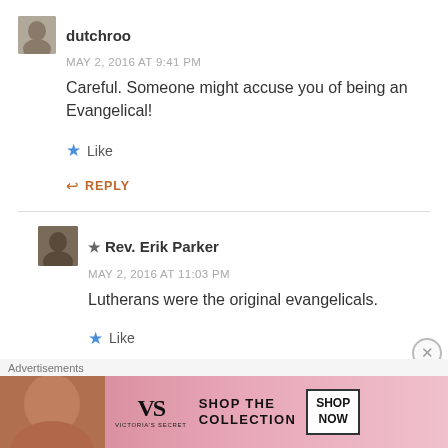[Figure (photo): Avatar photo of user dutchroo]
dutchroo
MAY 2, 2016 AT 9:41 PM
Careful. Someone might accuse you of being an Evangelical!
Like
REPLY
[Figure (photo): Avatar photo of user Rev. Erik Parker]
★ Rev. Erik Parker
MAY 2, 2016 AT 11:03 PM
Lutherans were the original evangelicals.
Like
Advertisements
[Figure (photo): Victoria's Secret advertisement banner: SHOP THE COLLECTION, SHOP NOW button]